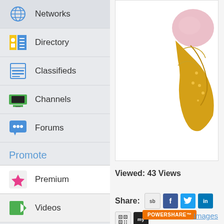Networks
Directory
Classifieds
Channels
Forums
Promote
Premium
Videos
Blogs
Images
[Figure (photo): Partial view of a gold jewelry piece with a pink/rose stone, cropped on the right side of the page]
Viewed: 43 Views
Share:
POWERSHARE™
Images